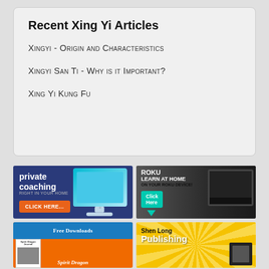Recent Xing Yi Articles
Xingyi - Origin and Characteristics
Xingyi San Ti - Why is it Important?
Xing Yi Kung Fu
[Figure (infographic): Private coaching advertisement: dark blue background with a computer monitor graphic and text 'private coaching RIGHT IN YOUR HOME' with orange 'CLICK HERE...' button]
[Figure (infographic): Roku advertisement: dark background with TV graphic and text 'ROKU LEARN AT HOME ON YOUR ROKU DEVICE!' with teal 'Click Here' button]
[Figure (infographic): Free Downloads advertisement: orange background with blue header band, Spirit Dragon Journal booklet image]
[Figure (infographic): Shen Long Publishing advertisement: yellow sunburst background with bold white Publishing text]